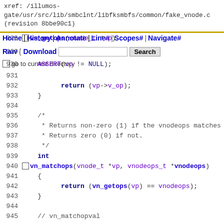xref: /illumos-gate/usr/src/lib/smbclnt/libfksmbfs/common/fake_vnode.c (revision 8bbe90c1)
Home | History | Annotate | Line# | Scopes# | Navigate# | Raw { Download [Search box] Search
928 vn_getops(vnode_t *vp)
go to current directory
930 ASSERT(vp != NULL);
931
932   return (vp->v_op);
933 }
934
935   /*
936    * Returns non-zero (1) if the vnodeops matches th
937    * Returns zero (0) if not.
938    */
939   int
940 vn_matchops(vnode_t *vp, vnodeops_t *vnodeops)
941   {
942         return (vn_getops(vp) == vnodeops);
943   }
944
945   // vn_matchopval
946   // fs_new_caller_id
947
948   // vn_clearpath
949   // vn_setpath_common
950
951   /* ARGSUSED */